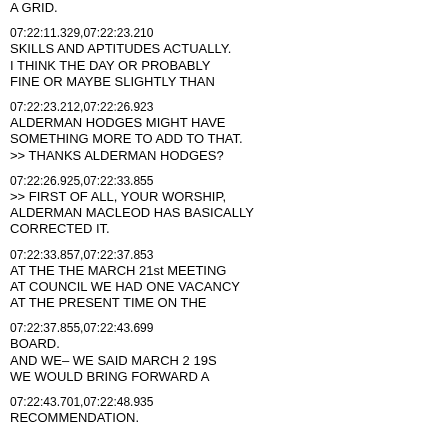A GRID.
07:22:11.329,07:22:23.210
SKILLS AND APTITUDES ACTUALLY.
I THINK THE DAY OR PROBABLY
FINE OR MAYBE SLIGHTLY THAN
07:22:23.212,07:22:26.923
ALDERMAN HODGES MIGHT HAVE
SOMETHING MORE TO ADD TO THAT.
>> THANKS ALDERMAN HODGES?
07:22:26.925,07:22:33.855
>> FIRST OF ALL, YOUR WORSHIP,
ALDERMAN MACLEOD HAS BASICALLY
CORRECTED IT.
07:22:33.857,07:22:37.853
AT THE THE MARCH 21st MEETING
AT COUNCIL WE HAD ONE VACANCY
AT THE PRESENT TIME ON THE
07:22:37.855,07:22:43.699
BOARD.
AND WE– WE SAID MARCH 2 19S
WE WOULD BRING FORWARD A
07:22:43.701,07:22:48.935
RECOMMENDATION.